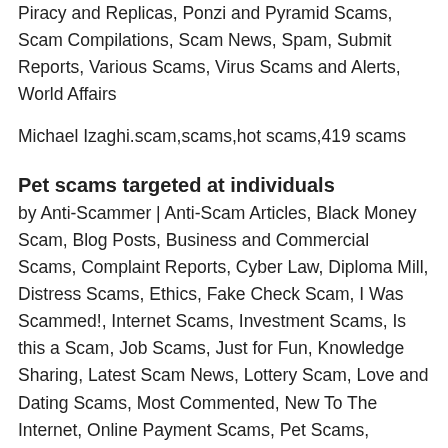Piracy and Replicas, Ponzi and Pyramid Scams, Scam Compilations, Scam News, Spam, Submit Reports, Various Scams, Virus Scams and Alerts, World Affairs
Michael Izaghi.scam,scams,hot scams,419 scams
Pet scams targeted at individuals
by Anti-Scammer | Anti-Scam Articles, Black Money Scam, Blog Posts, Business and Commercial Scams, Complaint Reports, Cyber Law, Diploma Mill, Distress Scams, Ethics, Fake Check Scam, I Was Scammed!, Internet Scams, Investment Scams, Is this a Scam, Job Scams, Just for Fun, Knowledge Sharing, Latest Scam News, Lottery Scam, Love and Dating Scams, Most Commented, New To The Internet, Online Payment Scams, Pet Scams, Phishing Scam, Piracy and Replicas, Ponzi and Pyramid Scams, Scam Compilations, Scam News, Spam, Submit Reports, Various Scams, Virus Scams and Alerts, Votes and Ratings, World Affairs